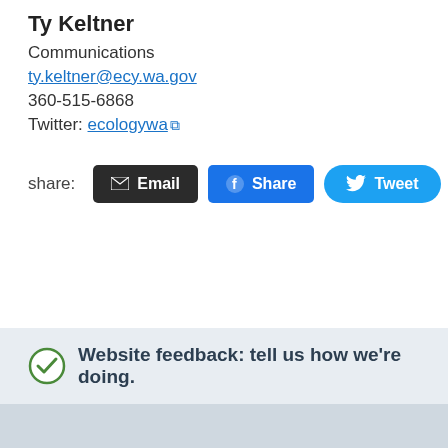Ty Keltner
Communications
ty.keltner@ecy.wa.gov
360-515-6868
Twitter: ecologywa
share: Email Share Tweet
Website feedback: tell us how we're doing.